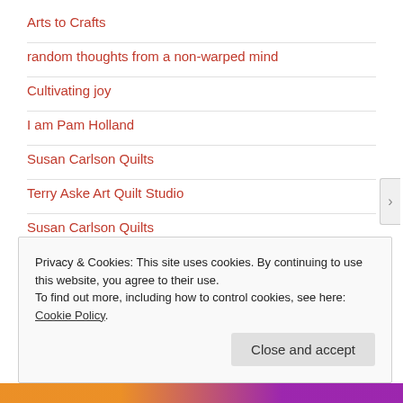Arts to Crafts
random thoughts from a non-warped mind
Cultivating joy
I am Pam Holland
Susan Carlson Quilts
Terry Aske Art Quilt Studio
Susan Carlson Quilts
Privacy & Cookies: This site uses cookies. By continuing to use this website, you agree to their use.
To find out more, including how to control cookies, see here: Cookie Policy
Close and accept